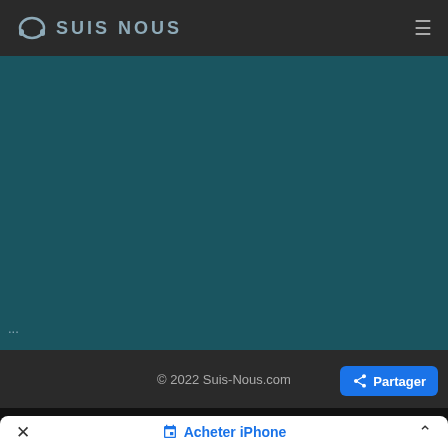SUIS NOUS
[Figure (screenshot): Dark teal background main content area with '...' text in lower left]
© 2022 Suis-Nous.com
Partager
Français
Acheter iPhone